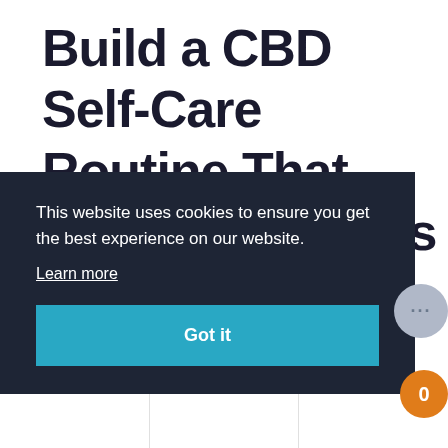Build a CBD Self-Care Routine That (Actually) Makes You Feel Better
This website uses cookies to ensure you get the best experience on our website.
Learn more
Got it